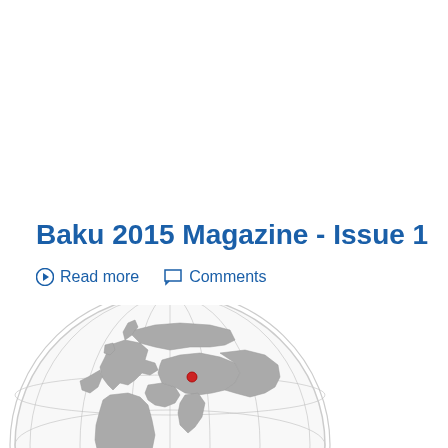Baku 2015 Magazine - Issue 1
Read more   Comments
[Figure (illustration): Globe showing Europe, Africa, and Asia with a red dot marking Baku, Azerbaijan]